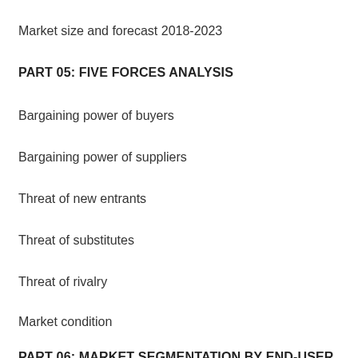Market size and forecast 2018-2023
PART 05: FIVE FORCES ANALYSIS
Bargaining power of buyers
Bargaining power of suppliers
Threat of new entrants
Threat of substitutes
Threat of rivalry
Market condition
PART 06: MARKET SEGMENTATION BY END-USER
Market segmentation by end-user